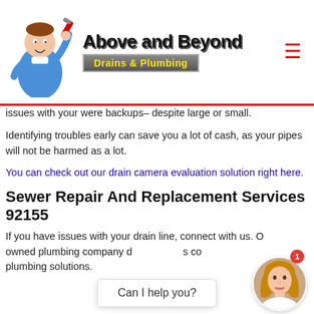[Figure (logo): Above and Beyond Drains & Plumbing logo with plumber mascot cartoon character holding a wrench, company name in stylized text, and 'Drains & Plumbing' subtitle on metallic banner. Hamburger menu icon on right.]
issues with your were backups– despite large or small.
Identifying troubles early can save you a lot of cash, as your pipes will not be harmed as a lot.
You can check out our drain camera evaluation solution right here.
Sewer Repair And Replacement Services 92155
If you have issues with your drain line, connect with us. Our owned plumbing company d s co plumbing solutions.
[Figure (photo): Chat widget overlay with 'Can I help you?' text bubble and female avatar photo with notification badge showing 1]